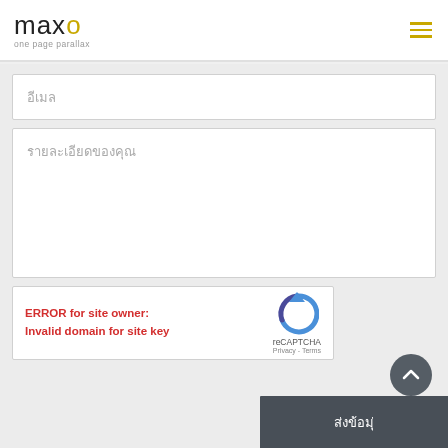[Figure (logo): maxo one page parallax logo with golden 'o' letter]
อีเมล
รายละเอียดของคุณ
[Figure (screenshot): reCAPTCHA widget showing ERROR for site owner: Invalid domain for site key]
ส่งข้อมุ่